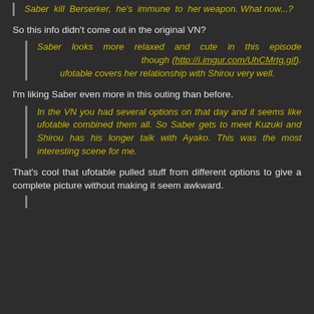Saber kill Berserker, he's immune to her weapon. What now...?
So this info didn't come out in the original VN?
Saber looks more relaxed and cute in this episode though (http://i.imgur.com/UhCMrtg.gif). ufotable covers her relationship with Shirou very well.
I'm liking Saber even more in this outing than before.
In the VN you had several options on that day and it seems like ufotable combined them all. So Saber gets to meet Kuzuki and Shirou has his longer talk with Ayako. This was the most interesting scene for me.
That's cool that ufotable pulled stuff from different options to give a complete picture without making it seem awkward.